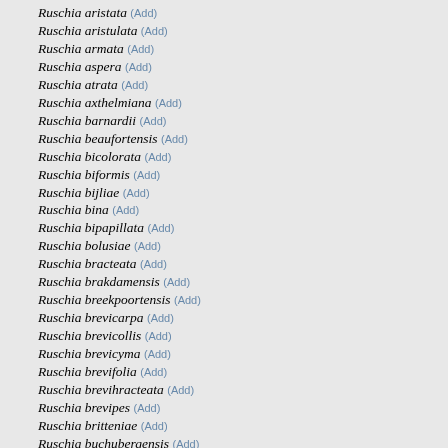Ruschia aristata (Add)
Ruschia aristulata (Add)
Ruschia armata (Add)
Ruschia aspera (Add)
Ruschia atrata (Add)
Ruschia axthelmiana (Add)
Ruschia barnardii (Add)
Ruschia beaufortensis (Add)
Ruschia bicolorata (Add)
Ruschia biformis (Add)
Ruschia bijliae (Add)
Ruschia bina (Add)
Ruschia bipapillata (Add)
Ruschia bolusiae (Add)
Ruschia bracteata (Add)
Ruschia brakdamensis (Add)
Ruschia breekpoortensis (Add)
Ruschia brevicarpa (Add)
Ruschia brevicollis (Add)
Ruschia brevicyma (Add)
Ruschia brevifolia (Add)
Ruschia brevihracteata (Add)
Ruschia brevipes (Add)
Ruschia britteniae (Add)
Ruschia buchubergensis (Add)
Ruschia burtoniae (Add)
Ruschia calcarea (Add)
Ruschia calcicola (Add)
Ruschia callifera (Add)
Ruschia calycina (Add)